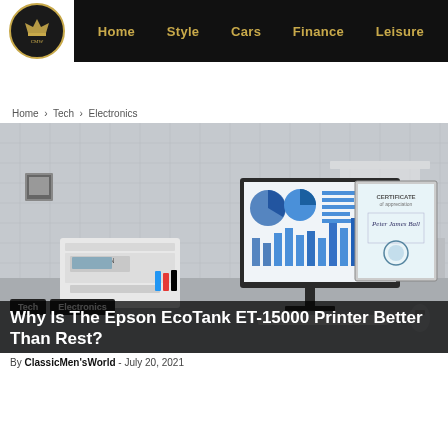[Figure (logo): ClassicMen's World circular logo with dark background and gold border]
Home  Style  Cars  Finance  Leisure
Home › Tech › Electronics
[Figure (photo): Office desk scene featuring an Epson EcoTank printer, a desktop monitor displaying charts and graphs, and a framed certificate on a desk]
Tech  Electronics
Why Is The Epson EcoTank ET-15000 Printer Better Than Rest?
By ClassicMen'sWorld - July 20, 2021